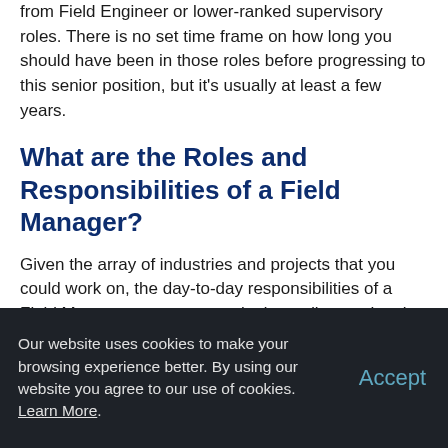from Field Engineer or lower-ranked supervisory roles. There is no set time frame on how long you should have been in those roles before progressing to this senior position, but it's usually at least a few years.
What are the Roles and Responsibilities of a Field Manager?
Given the array of industries and projects that you could work on, the day-to-day responsibilities of a Field Manager can vary greatly depending on the site. However, the role primarily focuses on supervising a
Our website uses cookies to make your browsing experience better. By using our website you agree to our use of cookies. Learn More.